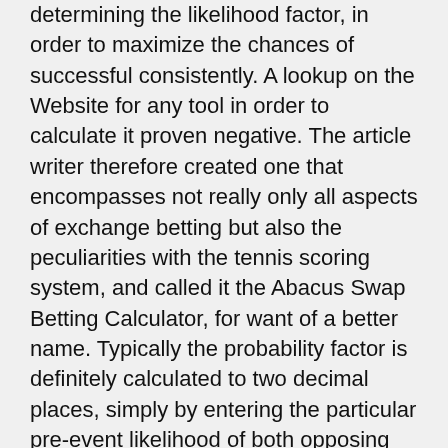determining the likelihood factor, in order to maximize the chances of successful consistently. A lookup on the Website for any tool in order to calculate it proven negative. The article writer therefore created one that encompasses not really only all aspects of exchange betting but also the peculiarities with the tennis scoring system, and called it the Abacus Swap Betting Calculator, for want of a better name. Typically the probability factor is definitely calculated to two decimal places, simply by entering the particular pre-event likelihood of both opposing sides, plus has enabled the writer to create consistently more compared to 10% make money from tennis games betting since Wimbledon 2009.
Like a seite an seite test, the author also placed bets according to “gut feeling”, in enough numbers